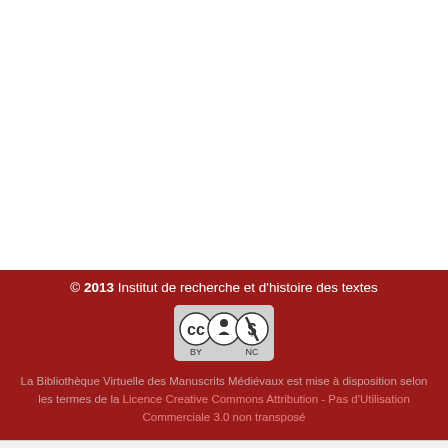[Figure (other): White blank manuscript page area]
© 2013 Institut de recherche et d'histoire des textes
[Figure (logo): Creative Commons BY-NC license badge]
La Bibliothèque Virtuelle des Manuscrits Médiévaux est mise à disposition selon les termes de la Licence Creative Commons Attribution - Pas d'Utilisation Commerciale 3.0 non transposé
[Figure (other): Navigation toolbar with rotate left/right buttons, navigation arrows, page number 75/180, and zoom controls]